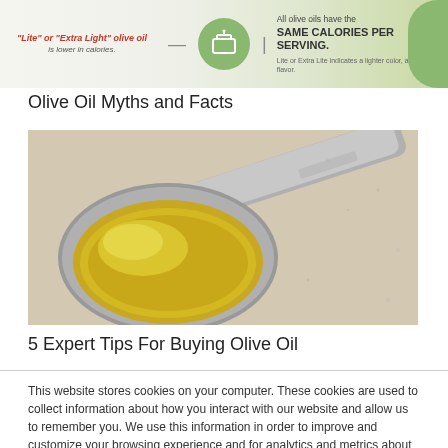[Figure (infographic): Olive oil myth vs fact infographic banner. Left side in red italic: 'Lite' or 'Extra Light' olive oil is lower in calories. Center: green circle with scale icon. Right side: All olive oils have the SAME CALORIES PER SERVING. Lite or Extra Lite indicates a lighter color, aroma or flavor.]
Olive Oil Myths and Facts
[Figure (photo): Close-up photo of a metal measuring spoon filled with golden-green olive oil on a light speckled surface.]
5 Expert Tips For Buying Olive Oil
This website stores cookies on your computer. These cookies are used to collect information about how you interact with our website and allow us to remember you. We use this information in order to improve and customize your browsing experience and for analytics and metrics about our visitors both on this website and other media. To find out more about the cookies we use, see our Privacy Policy.